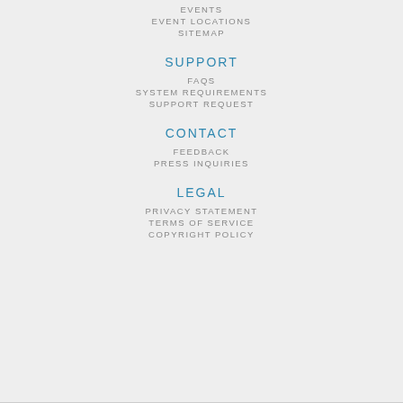EVENTS
EVENT LOCATIONS
SITEMAP
SUPPORT
FAQS
SYSTEM REQUIREMENTS
SUPPORT REQUEST
CONTACT
FEEDBACK
PRESS INQUIRIES
LEGAL
PRIVACY STATEMENT
TERMS OF SERVICE
COPYRIGHT POLICY